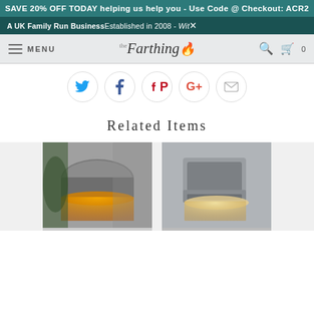SAVE 20% OFF TODAY helping us help you - Use Code @ Checkout: ACR2
A UK Family Run Business Established in 2008 - Wit...
MENU | The Farthing logo | Search | Cart 0
[Figure (infographic): Social sharing icons row: Twitter (blue), Facebook (dark blue), Pinterest (red), Google+ (red), Email (grey) — each in a white circle with grey border]
Related Items
[Figure (photo): Outdoor wall light with dome-shaped silver/pewter top casting warm orange glow downward, mounted on grey wall with green plant leaves visible on left side]
[Figure (photo): Outdoor wall light with rectangular silver/pewter shade casting warm cream light downward, mounted on textured grey concrete wall]